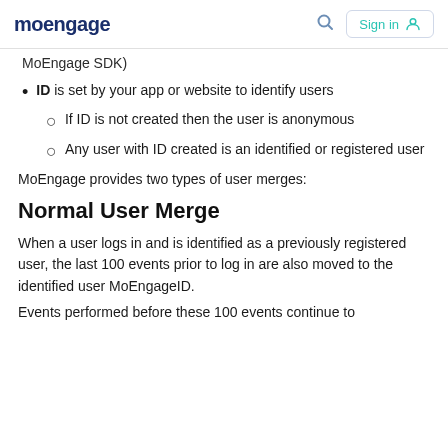moengage   Sign in
MoEngage SDK)
ID is set by your app or website to identify users
If ID is not created then the user is anonymous
Any user with ID created is an identified or registered user
MoEngage provides two types of user merges:
Normal User Merge
When a user logs in and is identified as a previously registered user, the last 100 events prior to log in are also moved to the identified user MoEngageID.
Events performed before these 100 events continue to